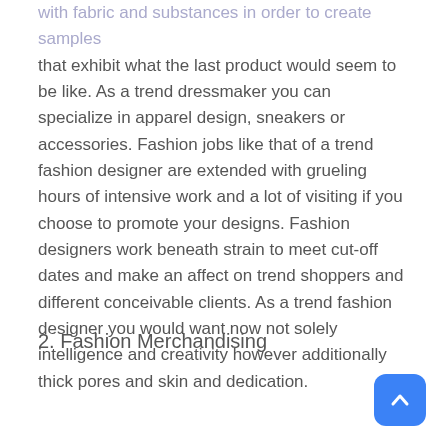with fabric and substances in order to create samples that exhibit what the last product would seem to be like. As a trend dressmaker you can specialize in apparel design, sneakers or accessories. Fashion jobs like that of a trend fashion designer are extended with grueling hours of intensive work and a lot of visiting if you choose to promote your designs. Fashion designers work beneath strain to meet cut-off dates and make an affect on trend shoppers and different conceivable clients. As a trend fashion designer you would want now not solely intelligence and creativity however additionally thick pores and skin and dedication.
2. Fashion Merchandising